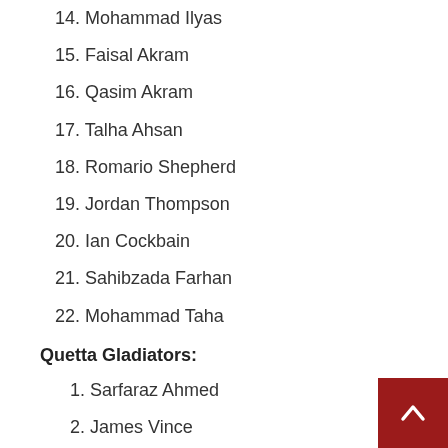14. Mohammad Ilyas
15. Faisal Akram
16. Qasim Akram
17. Talha Ahsan
18. Romario Shepherd
19. Jordan Thompson
20. Ian Cockbain
21. Sahibzada Farhan
22. Mohammad Taha
Quetta Gladiators:
1. Sarfaraz Ahmed
2. James Vince